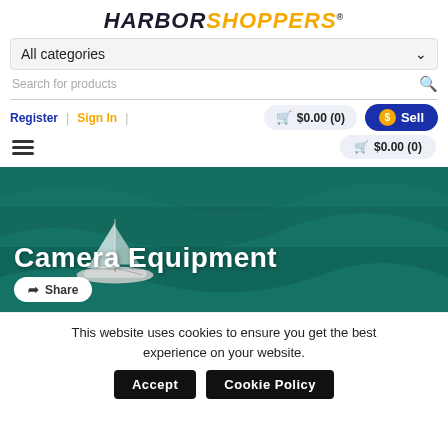[Figure (logo): HarborShoppers logo — italic bold text with HARBOR in dark navy and SHOPPERS in orange/gold, with registered trademark symbol]
All categories
Search for products
Register | Sign In
$0.00 (0)
Sell
$0.00 (0)
[Figure (photo): Aerial view of a catamaran sailboat on teal/dark green water, used as hero banner background for Camera Equipment category]
Camera Equipment
Share
This website uses cookies to ensure you get the best experience on your website.
Accept
Cookie Policy